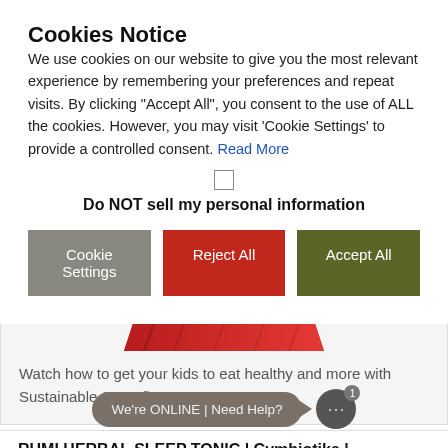Cookies Notice
We use cookies on our website to give you the most relevant experience by remembering your preferences and repeat visits. By clicking “Accept All”, you consent to the use of ALL the cookies. However, you may visit ‘Cookie Settings’ to provide a controlled consent. Read More
Do NOT sell my personal information
Cookie Settings | Reject All | Accept All
[Figure (photo): Partially visible red video thumbnail with diagonal lines]
Watch how to get your kids to eat healthy and more with Sustainable Santa®
We’re ONLINE | Need Help?
RUMI HERBAL SLEEP TONIC | Cymbiotika |